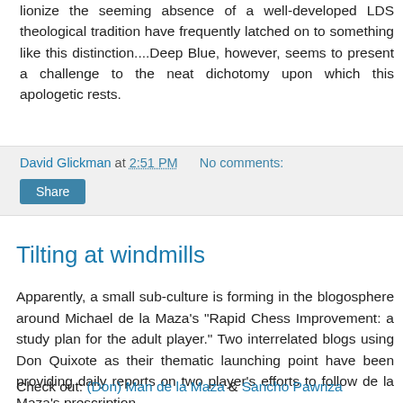lionize the seeming absence of a well-developed LDS theological tradition have frequently latched on to something like this distinction....Deep Blue, however, seems to present a challenge to the neat dichotomy upon which this apologetic rests.
David Glickman at 2:51 PM   No comments:
Share
Tilting at windmills
Apparently, a small sub-culture is forming in the blogosphere around Michael de la Maza's "Rapid Chess Improvement: a study plan for the adult player." Two interrelated blogs using Don Quixote as their thematic launching point have been providing daily reports on two player's efforts to follow de la Maza's prescription.
Check out: (Don) Man de la Maza & Sancho Pawnza